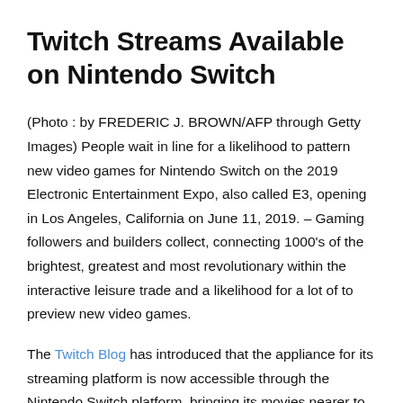Twitch Streams Available on Nintendo Switch
(Photo : by FREDERIC J. BROWN/AFP through Getty Images) People wait in line for a likelihood to pattern new video games for Nintendo Switch on the 2019 Electronic Entertainment Expo, also called E3, opening in Los Angeles, California on June 11, 2019. – Gaming followers and builders collect, connecting 1000's of the brightest, greatest and most revolutionary within the interactive leisure trade and a likelihood for a lot of to preview new video games.
The Twitch Blog has introduced that the appliance for its streaming platform is now accessible through the Nintendo Switch platform, bringing its movies nearer to the hybrid console customers. The Switch stays a fashionable console